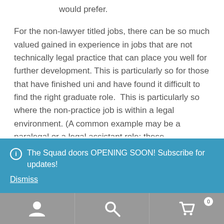would prefer.
For the non-lawyer titled jobs, there can be so much valued gained in experience in jobs that are not technically legal practice that can place you well for further development. This is particularly so for those that have finished uni and have found it difficult to find the right graduate role.  This is particularly so where the non-practice job is within a legal environment. (A common example may be a paralegal or a legal assistant role; these
The Squad doors OPENING SOON! Subscribe for updates!
Dismiss